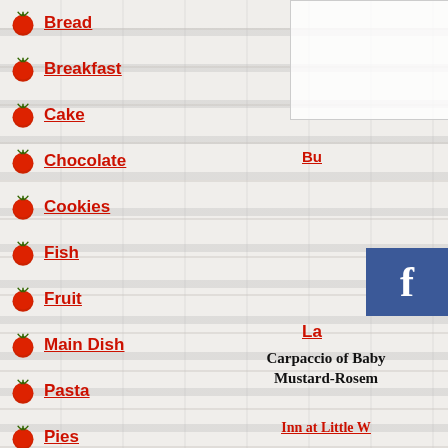Bread
Breakfast
Cake
Chocolate
Cookies
Fish
Fruit
Main Dish
Pasta
Pies
Pork
Bu
La
Carpaccio of Baby Mustard-Rosem
Inn at Little W